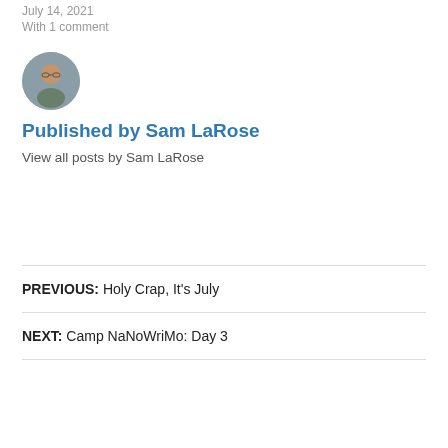July 14, 2021
With 1 comment
[Figure (photo): Circular avatar photo of Sam LaRose, a person wearing glasses]
Published by Sam LaRose
View all posts by Sam LaRose
PREVIOUS: Holy Crap, It's July
NEXT: Camp NaNoWriMo: Day 3